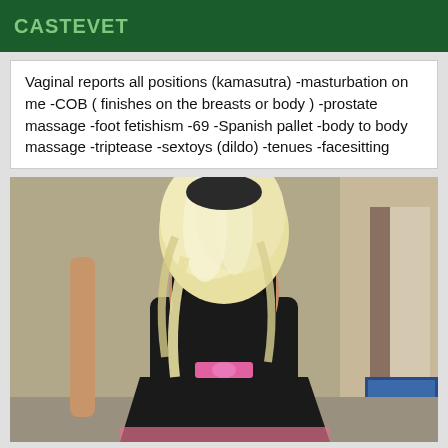CASTEVET
Vaginal reports all positions (kamasutra) -masturbation on me -COB ( finishes on the breasts or body ) -prostate massage -foot fetishism -69 -Spanish pallet -body to body massage -triptease -sextoys (dildo) -tenues -facesitting
[Figure (photo): Photo of a person with long blonde hair wearing a black dress with a pink ribbon/bow at the waist, viewed from behind in a room.]